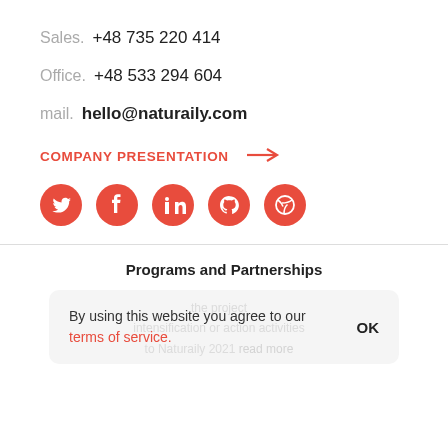Sales.  +48 735 220 414
Office.  +48 533 294 604
mail.  hello@naturaily.com
COMPANY PRESENTATION →
[Figure (illustration): Five social media icons (Twitter, Facebook, LinkedIn, GitHub, Dribbble) as red circles with white logos]
Programs and Partnerships
By using this website you agree to our terms of service.